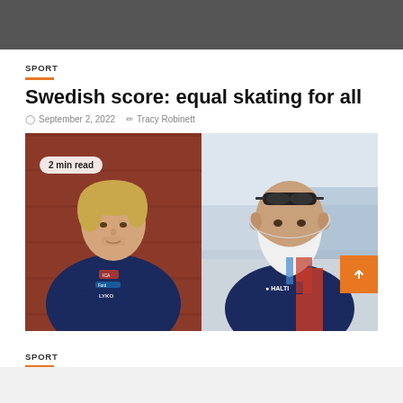[Figure (photo): Dark gray top banner image area]
SPORT
Swedish score: equal skating for all
September 2, 2022   Tracy Robinett
[Figure (photo): Two photos side by side: left shows a young man in a navy sports jacket with arms crossed against a red wooden wall; right shows a man wearing sunglasses on his head and a white face mask, wearing a navy and red jacket with Halti branding. A '2 min read' badge overlays the left photo.]
SPORT